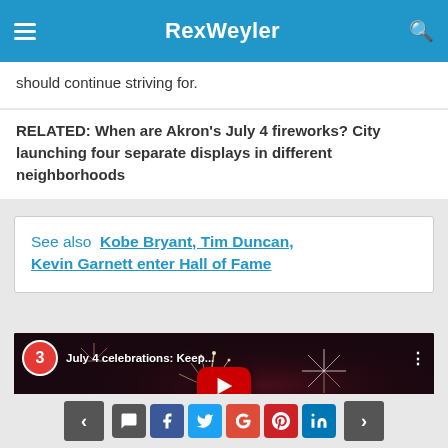RexWeyler
should continue striving for.
RELATED: When are Akron's July 4 fireworks? City launching four separate displays in different neighborhoods
See also  Kobe Bryant, Tim Duncan, Kevin Garnett enter Hall of Fame
[Figure (screenshot): YouTube video thumbnail showing July 4 fireworks celebration video titled 'July 4 celebrations: Keep...' with channel 3 icon and YouTube play button]
Navigation and social share buttons: back, comment, facebook, twitter, google+, pinterest, linkedin, next